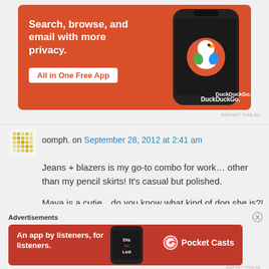[Figure (illustration): DuckDuckGo advertisement banner. Orange background with text 'Search, browse, and email with more privacy. All in One Free App' and a smartphone showing the DuckDuckGo logo.]
REPORT THIS AD
oomph. on September 28, 2012 at 2:41 am
Jeans + blazers is my go-to combo for work… other than my pencil skirts! It's casual but polished.

Maya is a cutie…do you know what kind of dog she is?! So glad she rescued you!
Advertisements
[Figure (illustration): Pocket Casts advertisement banner. Red background with text 'An app by listeners, for listeners.' and a Pocket Casts logo on the right.]
REPORT THIS AD